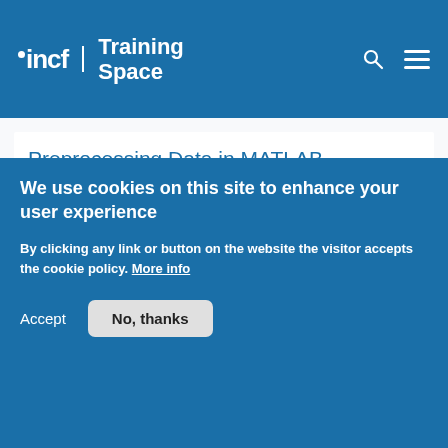incf | Training Space
Preprocessing Data in MATLAB
Course:  Data Science in MATLAB®
[Figure (screenshot): Screenshot of MATLAB interface showing toolbar, ribbon, and 'MATLAB data types' caption]
Difficulty level:
[Figure (screenshot): Row of MATLAB icons (script, cell, table, more) and a person's face partially visible]
We use cookies on this site to enhance your user experience
By clicking any link or button on the website the visitor accepts the cookie policy. More info
Accept
No, thanks